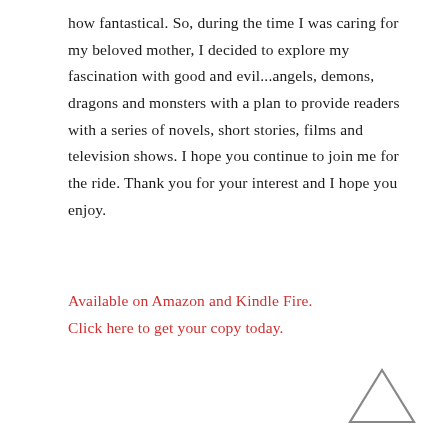how fantastical. So, during the time I was caring for my beloved mother, I decided to explore my fascination with good and evil...angels, demons, dragons and monsters with a plan to provide readers with a series of novels, short stories, films and television shows. I hope you continue to join me for the ride. Thank you for your interest and I hope you enjoy.
Available on Amazon and Kindle Fire. Click here to get your copy today.
[Figure (illustration): A small upward-pointing triangle (chevron/arrow) outline in gray, positioned at the bottom right of the page.]